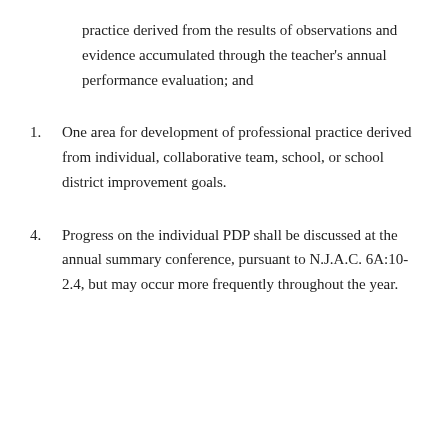practice derived from the results of observations and evidence accumulated through the teacher's annual performance evaluation; and
1. One area for development of professional practice derived from individual, collaborative team, school, or school district improvement goals.
4. Progress on the individual PDP shall be discussed at the annual summary conference, pursuant to N.J.A.C. 6A:10-2.4, but may occur more frequently throughout the year.